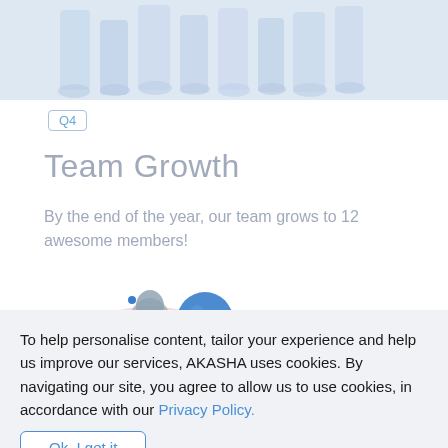[Figure (photo): Partial group photo of people (legs and torso visible) with a light blue/white washed-out tone]
Q4
Team Growth
By the end of the year, our team grows to 12 awesome members!
[Figure (illustration): Collage-style illustration with a thinker statue figure, a hand holding a blue sphere, pink/red brush strokes and a small blue dot]
To help personalise content, tailor your experience and help us improve our services, AKASHA uses cookies. By navigating our site, you agree to allow us to use cookies, in accordance with our Privacy Policy.
Ok, I get it